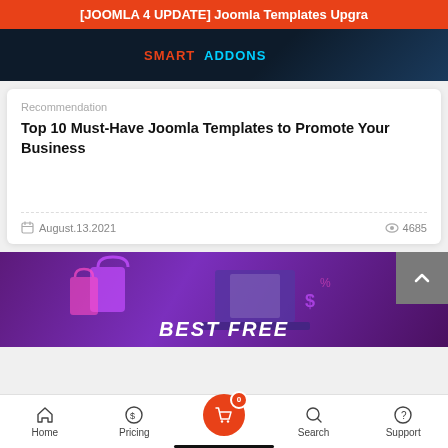[JOOMLA 4 UPDATE] Joomla Templates Upgra
[Figure (screenshot): Dark blue banner with SMARTADDONS logo text in red and cyan]
Recommendation
Top 10 Must-Have Joomla Templates to Promote Your Business
August.13.2021    4685
[Figure (screenshot): Purple promotional banner with shopping bags and laptop graphic, text: BEST FREE]
Home   Pricing   0   Search   Support